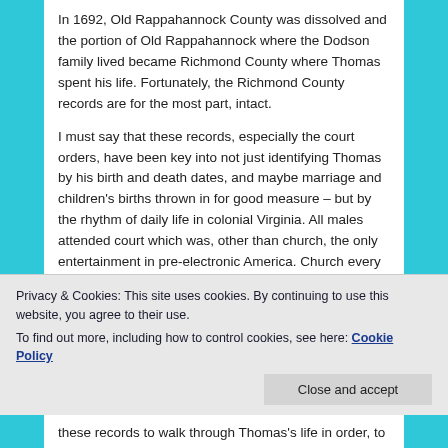In 1692, Old Rappahannock County was dissolved and the portion of Old Rappahannock where the Dodson family lived became Richmond County where Thomas spent his life. Fortunately, the Richmond County records are for the most part, intact.
I must say that these records, especially the court orders, have been key into not just identifying Thomas by his birth and death dates, and maybe marriage and children's births thrown in for good measure – but by the rhythm of daily life in colonial Virginia. All males attended court which was, other than church, the only entertainment in pre-electronic America. Church every Sunday was
Privacy & Cookies: This site uses cookies. By continuing to use this website, you agree to their use.
To find out more, including how to control cookies, see here: Cookie Policy
Close and accept
these records to walk through Thomas's life in order, to